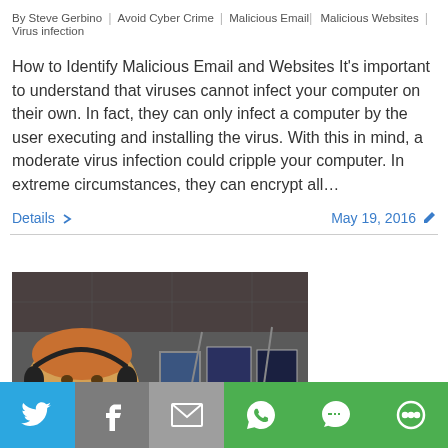By Steve Gerbino | Avoid Cyber Crime | Malicious Email | Malicious Websites | Virus infection
How to Identify Malicious Email and Websites It's important to understand that viruses cannot infect your computer on their own. In fact, they can only infect a computer by the user executing and installing the virus. With this in mind, a moderate virus infection could cripple your computer. In extreme circumstances, they can encrypt all…
Details >    May 19, 2016 ✏
[Figure (photo): A woman wearing headphones in a dimly lit room with framed pictures on the wall behind her]
[Figure (infographic): Social media share bar with icons for Twitter, Facebook, Email, WhatsApp, SMS, and More]